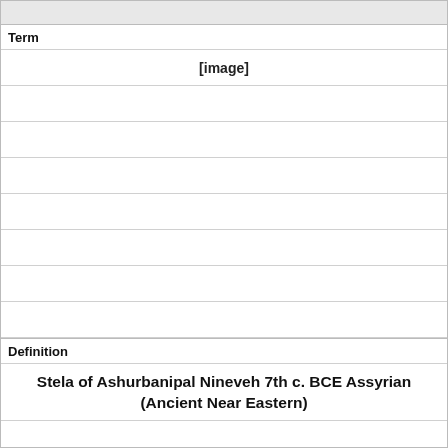| Term | Definition |
| --- | --- |
| [image] | Stela of Ashurbanipal Nineveh 7th c. BCE Assyrian (Ancient Near Eastern) |